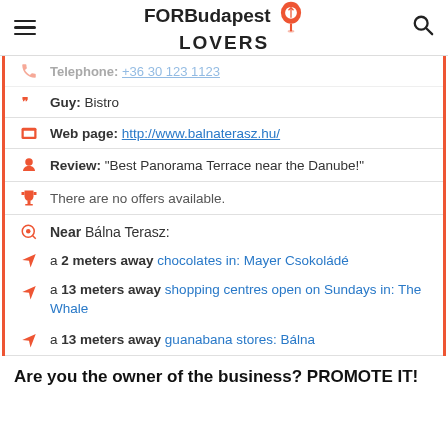FORBudapest LOVERS
Telephone: +36 30 123 1123
Guy: Bistro
Web page: http://www.balnaterasz.hu/
Review: "Best Panorama Terrace near the Danube!"
There are no offers available.
Near Bálna Terasz:
a 2 meters away chocolates in: Mayer Csokoládé
a 13 meters away shopping centres open on Sundays in: The Whale
a 13 meters away guanabana stores: Bálna
Are you the owner of the business? PROMOTE IT!